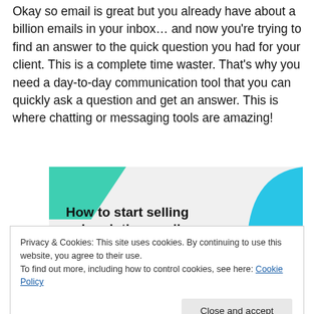Okay so email is great but you already have about a billion emails in your inbox… and now you're trying to find an answer to the quick question you had for your client. This is a complete time waster. That's why you need a day-to-day communication tool that you can quickly ask a question and get an answer. This is where chatting or messaging tools are amazing!
[Figure (infographic): Promotional banner with teal triangle top-left, blue arc top-right, light gray background, bold text reading 'How to start selling subscriptions online']
Privacy & Cookies: This site uses cookies. By continuing to use this website, you agree to their use.
To find out more, including how to control cookies, see here: Cookie Policy
Close and accept